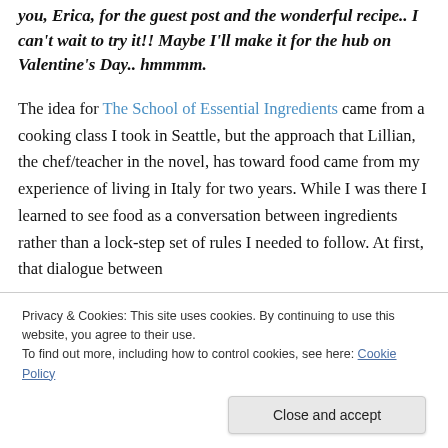you, Erica, for the guest post and the wonderful recipe.. I can't wait to try it!! Maybe I'll make it for the hub on Valentine's Day.. hmmmm.
The idea for The School of Essential Ingredients came from a cooking class I took in Seattle, but the approach that Lillian, the chef/teacher in the novel, has toward food came from my experience of living in Italy for two years. While I was there I learned to see food as a conversation between ingredients rather than a lock-step set of rules I needed to follow. At first, that dialogue between ingredients felt as if it was missing foreign l...
Privacy & Cookies: This site uses cookies. By continuing to use this website, you agree to their use.
To find out more, including how to control cookies, see here: Cookie Policy
Close and accept